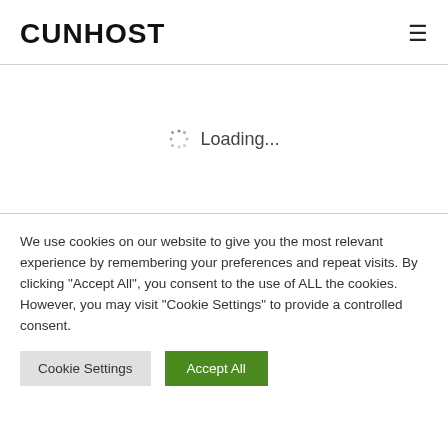CUNHOST
Loading...
We use cookies on our website to give you the most relevant experience by remembering your preferences and repeat visits. By clicking "Accept All", you consent to the use of ALL the cookies. However, you may visit "Cookie Settings" to provide a controlled consent.
Cookie Settings
Accept All